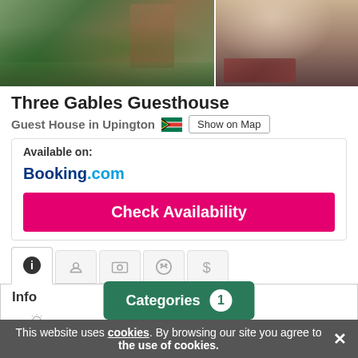[Figure (photo): Two photos side by side: left shows a garden with lush greenery, brick steps and stone path; right shows a bedroom interior with bedding and decorative rug]
Three Gables Guesthouse
Guest House in Upington [South Africa flag] Show on Map
Available on:
Booking.com
Check Availability
Info
Accommodation with Outdoor Pool
Accommodation with Swimming Pool
✓ Outdoor Pool
Categories 1
This website uses cookies. By browsing our site you agree to the use of cookies.